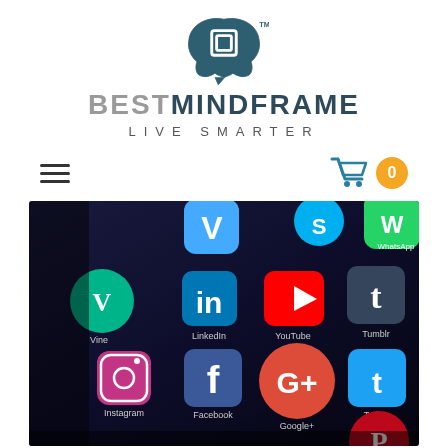[Figure (logo): BestMindFrame logo: brain icon above the brand name 'BESTMINDFRAME' with tagline 'LIVE SMARTER']
[Figure (other): Navigation bar with hamburger menu icon on the left and a shopping cart icon with badge showing '0' on the right]
[Figure (photo): Close-up photo of a smartphone screen showing social media app icons including Vine, LinkedIn, YouTube, Facebook, Twitter, Tumblr, WhatsApp, Instagram, Google+, Pinterest, and Vimeo]